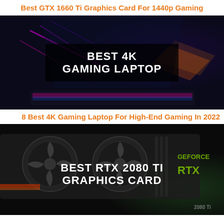Best GTX 1660 Ti Graphics Card For 1440p Gaming
[Figure (photo): Gaming laptop with colorful RGB lighting and neon effects, with a dark overlay box showing the text BEST 4K GAMING LAPTOP]
8 Best 4K Gaming Laptop For High-End Gaming In 2022
[Figure (photo): RTX 2080 Ti graphics card with fans visible, with a text overlay showing BEST RTX 2080 TI GRAPHICS CARD, with GEFORCE RTX branding visible on the right]